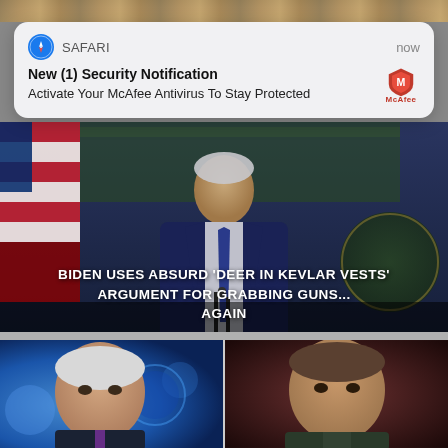[Figure (screenshot): Partial top strip of a webpage or image background]
[Figure (screenshot): Safari browser push notification popup: 'New (1) Security Notification - Activate Your McAfee Antivirus To Stay Protected', with McAfee logo, timestamp 'now']
[Figure (screenshot): News article thumbnail showing a man in a suit at a podium with American flags, headline: 'BIDEN USES ABSURD DEER IN KEVLAR VESTS ARGUMENT FOR GRABBING GUNS... AGAIN', byline: keely, July 6, 2022]
[Figure (screenshot): Bottom section showing two people side by side, partial view, appears to be a TV news split-screen]